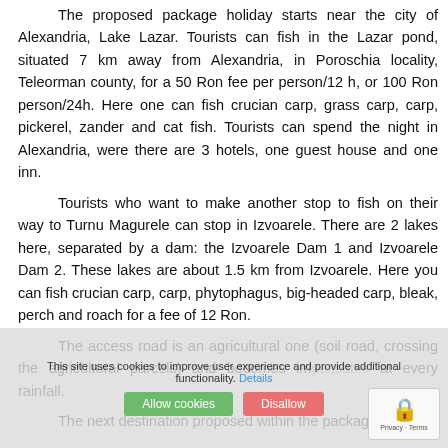The proposed package holiday starts near the city of Alexandria, Lake Lazar. Tourists can fish in the Lazar pond, situated 7 km away from Alexandria, in Poroschia locality, Teleorman county, for a 50 Ron fee per person/12 h, or 100 Ron person/24h. Here one can fish crucian carp, grass carp, carp, pickerel, zander and cat fish. Tourists can spend the night in Alexandria, were there are 3 hotels, one guest house and one inn.
Tourists who want to make another stop to fish on their way to Turnu Magurele can stop in Izvoarele. There are 2 lakes here, separated by a dam: the Izvoarele Dam 1 and Izvoarele Dam 2. These lakes are about 1.5 km from Izvoarele. Here you can fish crucian carp, carp, phytophagus, big-headed carp, bleak, perch and roach for a fee of 12 Ron.
The access road is an agricultural one (soil road, crossing the agricultural parcels) and becomes impassable at every rainfall.
The next destination proposed within the package is